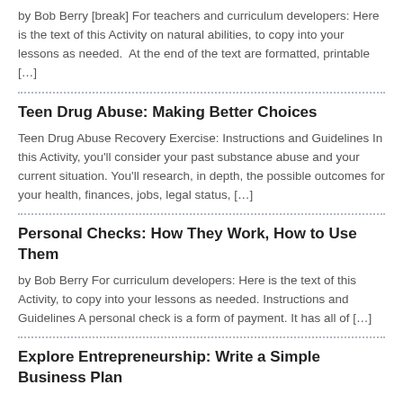by Bob Berry [break] For teachers and curriculum developers: Here is the text of this Activity on natural abilities, to copy into your lessons as needed.  At the end of the text are formatted, printable […]
Teen Drug Abuse: Making Better Choices
Teen Drug Abuse Recovery Exercise: Instructions and Guidelines In this Activity, you'll consider your past substance abuse and your current situation. You'll research, in depth, the possible outcomes for your health, finances, jobs, legal status, […]
Personal Checks: How They Work, How to Use Them
by Bob Berry For curriculum developers: Here is the text of this Activity, to copy into your lessons as needed. Instructions and Guidelines A personal check is a form of payment. It has all of […]
Explore Entrepreneurship: Write a Simple Business Plan